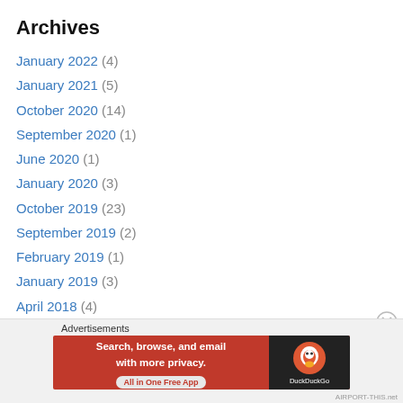Archives
January 2022 (4)
January 2021 (5)
October 2020 (14)
September 2020 (1)
June 2020 (1)
January 2020 (3)
October 2019 (23)
September 2019 (2)
February 2019 (1)
January 2019 (3)
April 2018 (4)
January 2018 (2)
October 2017 (22)
September 2017 (1)
Advertisements
[Figure (infographic): DuckDuckGo advertisement banner: 'Search, browse, and email with more privacy. All in One Free App' with DuckDuckGo logo on dark right panel]